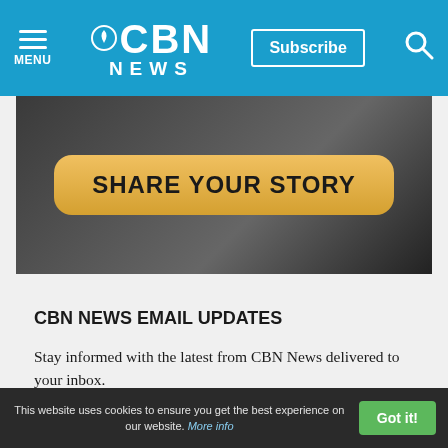CBN NEWS — Subscribe — MENU — Search
[Figure (photo): Banner image with a 'SHARE YOUR STORY' button overlay on a dark background with a person]
CBN NEWS EMAIL UPDATES
Stay informed with the latest from CBN News delivered to your inbox.
Quick Start Morning Update
Mid-Day Update
Evening Update
This website uses cookies to ensure you get the best experience on our website. More info — Got it!